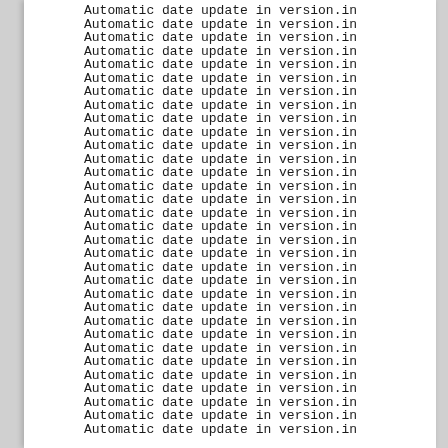Automatic date update in version.in
Automatic date update in version.in
Automatic date update in version.in
Automatic date update in version.in
Automatic date update in version.in
Automatic date update in version.in
Automatic date update in version.in
Automatic date update in version.in
Automatic date update in version.in
Automatic date update in version.in
Automatic date update in version.in
Automatic date update in version.in
Automatic date update in version.in
Automatic date update in version.in
Automatic date update in version.in
Automatic date update in version.in
Automatic date update in version.in
Automatic date update in version.in
Automatic date update in version.in
Automatic date update in version.in
Automatic date update in version.in
Automatic date update in version.in
Automatic date update in version.in
Automatic date update in version.in
Automatic date update in version.in
Automatic date update in version.in
Automatic date update in version.in
Automatic date update in version.in
Automatic date update in version.in
Automatic date update in version.in
Automatic date update in version.in
Automatic date update in version.in